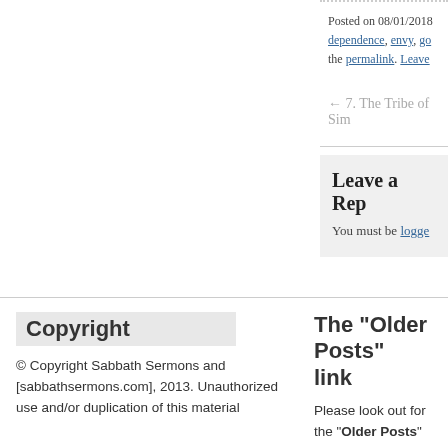Posted on 08/01/2018 dependence, envy, go the permalink. Leave
← 7. The Tribe of Sim
Leave a Rep
You must be logged
Copyright
© Copyright Sabbath Sermons and [sabbathsermons.com], 2013. Unauthorized use and/or duplication of this material
The “Older Posts” link
Please look out for the “Older Posts” link at the bottom of each page if using the search field or if you have clicked on a category.